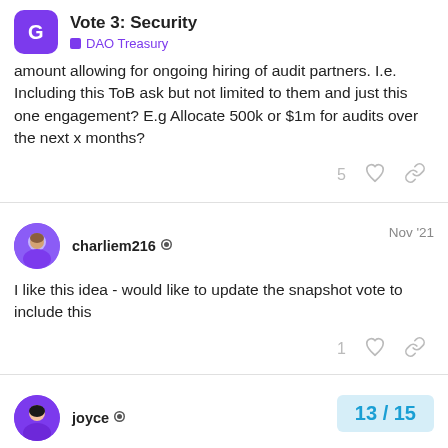Vote 3: Security | DAO Treasury
amount allowing for ongoing hiring of audit partners. I.e. Including this ToB ask but not limited to them and just this one engagement? E.g Allocate 500k or $1m for audits over the next x months?
5 [likes] [share]
charliem216 ◉  Nov '21
I like this idea - would like to update the snapshot vote to include this
1 [likes] [share]
joyce ◉  Nov '21
This proposal has been moved to a Snaps
13 / 15